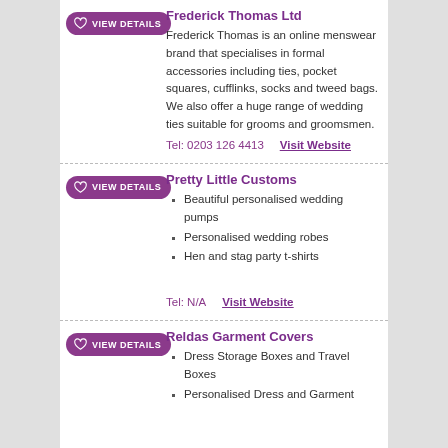Frederick Thomas Ltd
Frederick Thomas is an online menswear brand that specialises in formal accessories including ties, pocket squares, cufflinks, socks and tweed bags. We also offer a huge range of wedding ties suitable for grooms and groomsmen.
Tel: 0203 126 4413   Visit Website
Pretty Little Customs
Beautiful personalised wedding pumps
Personalised wedding robes
Hen and stag party t-shirts
Tel: N/A   Visit Website
Reldas Garment Covers
Dress Storage Boxes and Travel Boxes
Personalised Dress and Garment